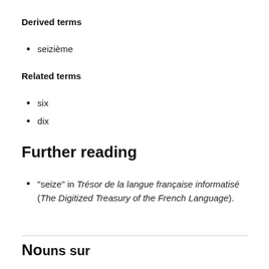Derived terms
seizième
Related terms
six
dix
Further reading
“seize” in Trésor de la langue française informatisé (The Digitized Treasury of the French Language).
Nouns sur